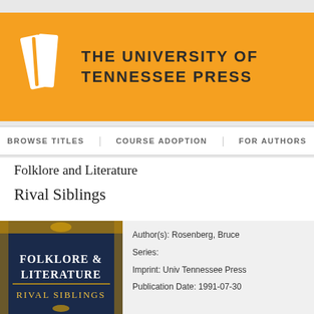[Figure (logo): The University of Tennessee Press orange banner with book logo and text]
BROWSE TITLES   COURSE ADOPTION   FOR AUTHORS
Folklore and Literature
Rival Siblings
[Figure (illustration): Book cover of Folklore & Literature: Rival Siblings with decorative floral design on dark blue background]
Author(s): Rosenberg, Bruce
Series:
Imprint: Univ Tennessee Press
Publication Date: 1991-07-30